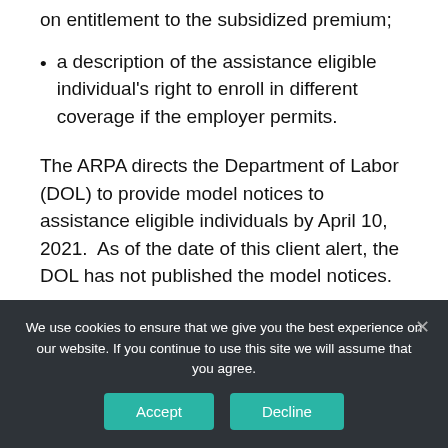on entitlement to the subsidized premium;
a description of the assistance eligible individual's right to enroll in different coverage if the employer permits.
The ARPA directs the Department of Labor (DOL) to provide model notices to assistance eligible individuals by April 10, 2021. As of the date of this client alert, the DOL has not published the model notices.
The ARPA also requires employers to provide
We use cookies to ensure that we give you the best experience on our website. If you continue to use this site we will assume that you agree.